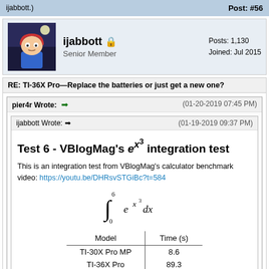ijabbott.)
Post: #56
ijabbott — Senior Member — Posts: 1,130 — Joined: Jul 2015
RE: TI-36X Pro—Replace the batteries or just get a new one?
pier4r Wrote: (01-20-2019 07:45 PM)
ijabbott Wrote: (01-19-2019 09:37 PM)
Test 6 - VBlogMag's e^(x^3) integration test
This is an integration test from VBlogMag's calculator benchmark video: https://youtu.be/DHRsvSTGiBc?t=584
| Model | Time (s) |
| --- | --- |
| TI-30X Pro MP | 8.6 |
| TI-36X Pro | 89.3 |
| Casio fx-991EX | 24.4 |